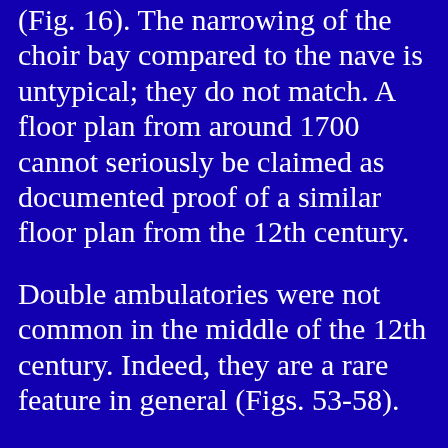(Fig. 16). The narrowing of the choir bay compared to the nave is untypical; they do not match. A floor plan from around 1700 cannot seriously be claimed as documented proof of a similar floor plan from the 12th century.
Double ambulatories were not common in the middle of the 12th century. Indeed, they are a rare feature in general (Figs. 53-58).
An exterior perspective by Belleforest (1575) does not show the apse in the roof area as a uniformly continuous form matching the original choir bays to the east of the intersection, but rather as sloping